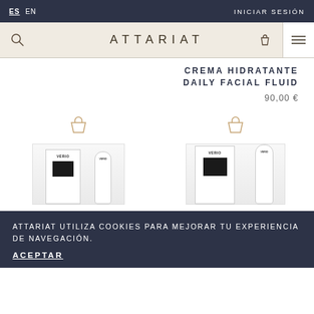ES  EN    INICIAR SESIÓN
ATTARIAT
CREMA HIDRATANTE DAILY FACIAL FLUID
90,00 €
[Figure (screenshot): Two product cards with shopping bag icons above and product images (VERIO cream boxes and bottles) below]
ATTARIAT UTILIZA COOKIES PARA MEJORAR TU EXPERIENCIA DE NAVEGACIÓN.
ACEPTAR